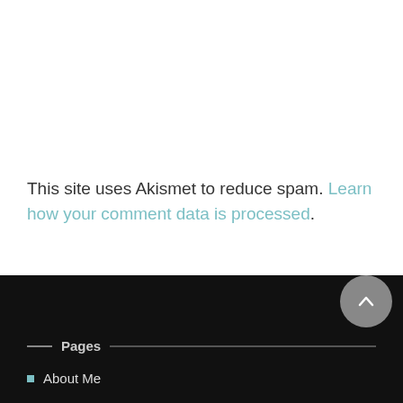This site uses Akismet to reduce spam. Learn how your comment data is processed.
Pages
About Me